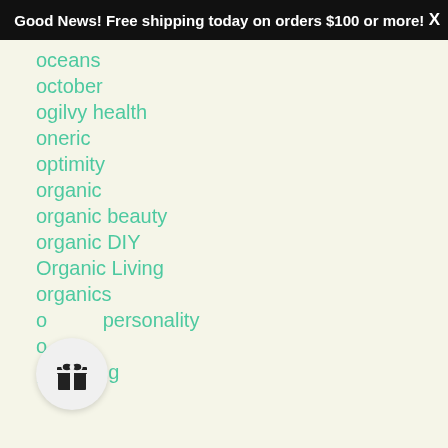Good News! Free shipping today on orders $100 or more! X
oceans
october
ogilvy health
oneric
optimity
organic
organic beauty
organic DIY
Organic Living
organics
our personality
our…
parenting